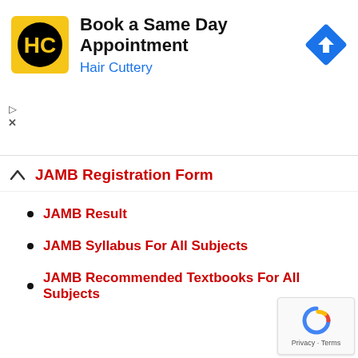[Figure (logo): Hair Cuttery advertisement banner with HC logo, 'Book a Same Day Appointment' heading, 'Hair Cuttery' subtitle in blue, and a navigation/directions icon]
JAMB Registration Form
JAMB Result
JAMB Syllabus For All Subjects
JAMB Recommended Textbooks For All Subjects
[Figure (logo): Google reCAPTCHA badge with Privacy and Terms links]